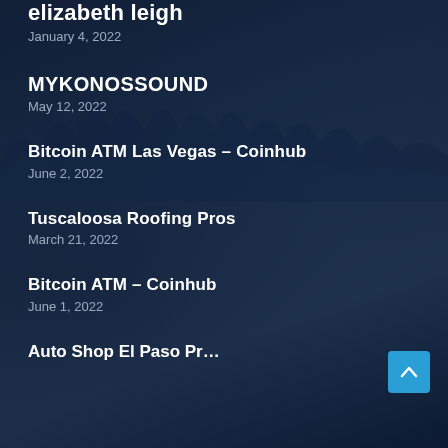elizabeth leigh
January 4, 2022
MYKONOSSOUND
May 12, 2022
Bitcoin ATM Las Vegas – Coinhub
June 2, 2022
Tuscaloosa Roofing Pros
March 21, 2022
Bitcoin ATM – Coinhub
June 1, 2022
Auto Shop El Paso Pr…